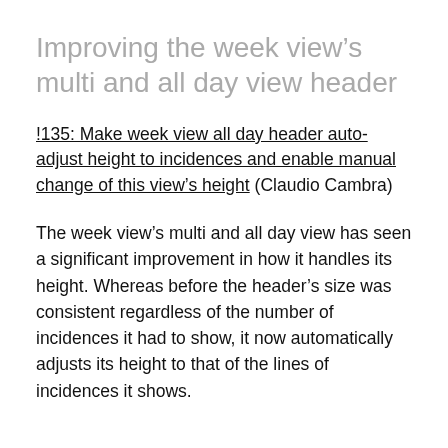Improving the week view’s multi and all day view header
!135: Make week view all day header auto-adjust height to incidences and enable manual change of this view’s height (Claudio Cambra)
The week view’s multi and all day view has seen a significant improvement in how it handles its height. Whereas before the header’s size was consistent regardless of the number of incidences it had to show, it now automatically adjusts its height to that of the lines of incidences it shows.